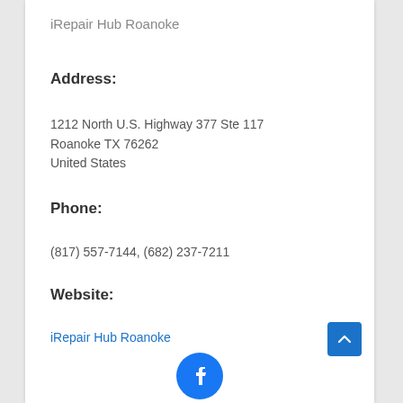iRepair Hub Roanoke
Address:
1212 North U.S. Highway 377 Ste 117
Roanoke TX 76262
United States
Phone:
(817) 557-7144, (682) 237-7211
Website:
iRepair Hub Roanoke